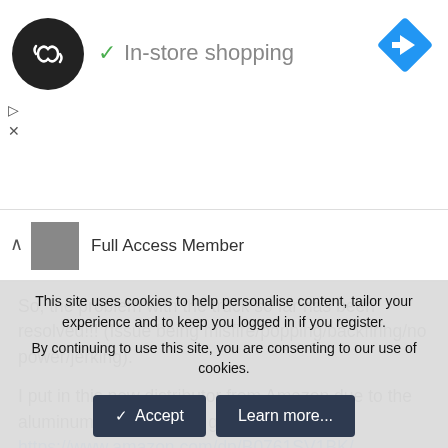[Figure (screenshot): Ad banner with circular black logo with infinity-like arrow symbol, green checkmark 'In-store shopping' text, and blue diamond navigation icon top right. Small play and X controls below logo.]
Full Access Member
So, the problem with the truck so far has been resolved!!! (Issue being misfire/popping/backfiring/no power/jerking).

I put in this new distributor from Amazon due to the aluminum body, and the good reviews;
https://www.amazon.com/dp/B0761SV1BK/

The truck unfortunately still acted up (still had junkyard coil
This site uses cookies to help personalise content, tailor your experience and to keep you logged in if you register.
By continuing to use this site, you are consenting to our use of cookies.